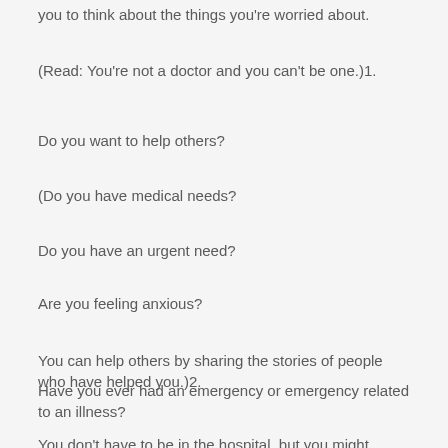you to think about the things you're worried about.
(Read: You're not a doctor and you can't be one.)1.
Do you want to help others?
(Do you have medical needs?
Do you have an urgent need?
Are you feeling anxious?
You can help others by sharing the stories of people who have helped you.)2.
Have you ever had an emergency or emergency related to an illness?
You don't have to be in the hospital, but you might